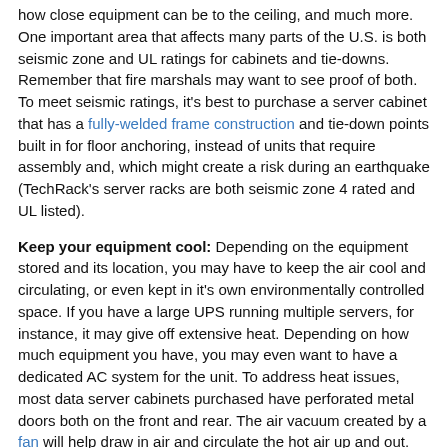how close equipment can be to the ceiling, and much more. One important area that affects many parts of the U.S. is both seismic zone and UL ratings for cabinets and tie-downs. Remember that fire marshals may want to see proof of both. To meet seismic ratings, it's best to purchase a server cabinet that has a fully-welded frame construction and tie-down points built in for floor anchoring, instead of units that require assembly and, which might create a risk during an earthquake (TechRack's server racks are both seismic zone 4 rated and UL listed).
Keep your equipment cool: Depending on the equipment stored and its location, you may have to keep the air cool and circulating, or even kept in it's own environmentally controlled space. If you have a large UPS running multiple servers, for instance, it may give off extensive heat. Depending on how much equipment you have, you may even want to have a dedicated AC system for the unit. To address heat issues, most data server cabinets purchased have perforated metal doors both on the front and rear. The air vacuum created by a fan will help draw in air and circulate the hot air up and out. It's also important to ensure that there is adequate air space between pieces of computer equipment. It's recommended that they be at least one rack space (1.75") between each other.